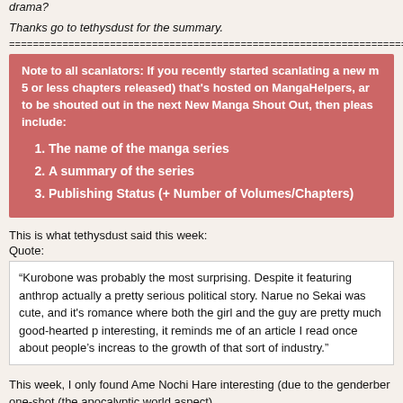drama?
Thanks go to tethysdust for the summary.
==========================================================
Note to all scanlators: If you recently started scanlating a new manga (5 or less chapters released) that's hosted on MangaHelpers, and want to be shouted out in the next New Manga Shout Out, then please include:
1. The name of the manga series
2. A summary of the series
3. Publishing Status (+ Number of Volumes/Chapters)
This is what tethysdust said this week:
Quote:
“Kurobone was probably the most surprising. Despite it featuring anthrop actually a pretty serious political story. Narue no Sekai was cute, and it's romance where both the girl and the guy are pretty much good-hearted p interesting, it reminds me of an article I read once about people's increas to the growth of that sort of industry.”
This week, I only found Ame Nochi Hare interesting (due to the genderbend) one-shot (the apocalyptic world aspect).
Translated items that need some love/scanlation:
Katatonia - Kinnikuman Nisei: Kyūkyoku no Chōjin Tag Hen: Chate